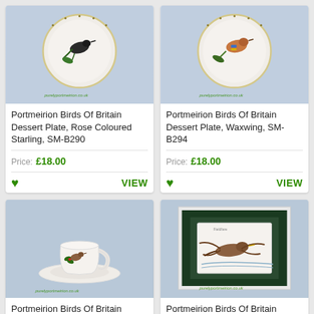[Figure (photo): Portmeirion Birds Of Britain Dessert Plate with Rose Coloured Starling design, white ceramic plate with bird illustration and decorative border, watermark purelyportmeirion.co.uk]
Portmeirion Birds Of Britain Dessert Plate, Rose Coloured Starling, SM-B290
Price: £18.00
[Figure (photo): Portmeirion Birds Of Britain Dessert Plate with Waxwing design, white ceramic plate with bird illustration and decorative border, watermark purelyportmeirion.co.uk]
Portmeirion Birds Of Britain Dessert Plate, Waxwing, SM-B294
Price: £18.00
[Figure (photo): Portmeirion Birds Of Britain Espresso Cup And Saucer with Wren design, white ceramic cup and saucer with bird and holly illustration, watermark purelyportmeirion.co.uk]
Portmeirion Birds Of Britain Espresso Cup And Saucer, Wren, SM-B270
[Figure (photo): Portmeirion Birds Of Britain Framed Test Tile with Field Fare design, framed tile in dark green mat with bird illustration, watermark purelyportmeirion.co.uk]
Portmeirion Birds Of Britain Framed Test Tile, Field Fare, B138